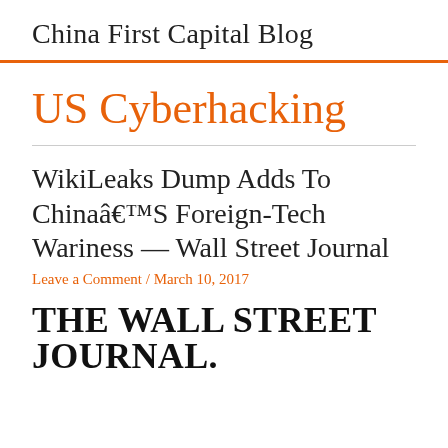China First Capital Blog
US Cyberhacking
WikiLeaks Dump Adds To Chinaâ€™S Foreign-Tech Wariness — Wall Street Journal
Leave a Comment / March 10, 2017
[Figure (logo): The Wall Street Journal logo in bold serif black text]